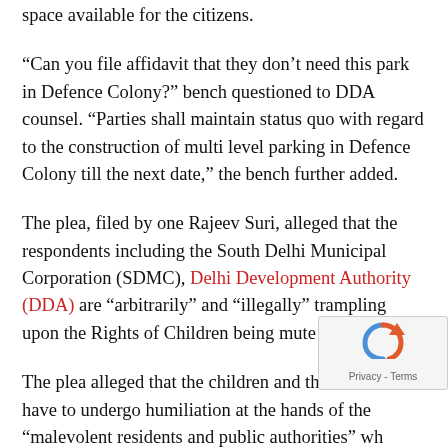space available for the citizens.
“Can you file affidavit that they don’t need this park in Defence Colony?” bench questioned to DDA counsel. “Parties shall maintain status quo with regard to the construction of multi level parking in Defence Colony till the next date,” the bench further added.
The plea, filed by one Rajeev Suri, alleged that the respondents including the South Delhi Municipal Corporation (SDMC), Delhi Development Authority (DDA) are “arbitrarily” and “illegally” trampling upon the Rights of Children being mute spectators.
The plea alleged that the children and their mothers have to undergo humiliation at the hands of the “malevolent residents and public authorities” who depriving children of their ‘right to play’, and ‘child